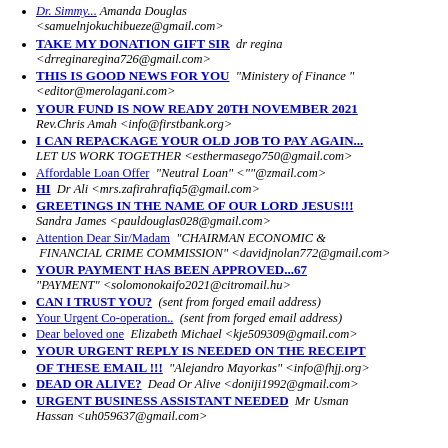Dr. Simmy... Amanda Douglas <samuelnjokuchibueze@gmail.com>
TAKE MY DONATION GIFT SIR   dr regina <drreginaregina726@gmail.com>
THIS IS GOOD NEWS FOR YOU   "Ministery of Finance" <editor@merolagani.com>
YOUR FUND IS NOW READY 20TH NOVEMBER 2021   Rev.Chris Amah <info@firstbank.org>
I CAN REPACKAGE YOUR OLD JOB TO PAY AGAIN...   LET US WORK TOGETHER <esthermasego750@gmail.com>
Affordable Loan Offer   "Neutral Loan" <""@zmail.com>
HI   Dr Ali <mrs.zafirahrafiq5@gmail.com>
GREETINGS IN THE NAME OF OUR LORD JESUS!!!   Sandra James <pauldouglas028@gmail.com>
Attention Dear Sir/Madam   "CHAIRMAN ECONOMIC & FINANCIAL CRIME COMMISSION" <davidjnolan772@gmail.com>
YOUR PAYMENT HAS BEEN APPROVED...67   "PAYMENT" <solomonokaifo2021@citromail.hu>
CAN I TRUST YOU?   (sent from forged email address)
Your Urgent Co-operation..   (sent from forged email address)
Dear beloved one   Elizabeth Michael <kje509309@gmail.com>
YOUR URGENT REPLY IS NEEDED ON THE RECEIPT OF THESE EMAIL !!!   "Alejandro Mayorkas" <info@fhjj.org>
DEAD OR ALIVE?   Dead Or Alive <doniji1992@gmail.com>
URGENT BUSINESS ASSISTANT NEEDED   Mr Usman Hassan <uh059637@gmail.com>